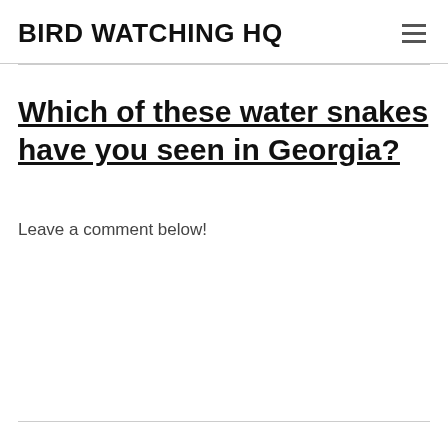BIRD WATCHING HQ
Which of these water snakes have you seen in Georgia?
Leave a comment below!